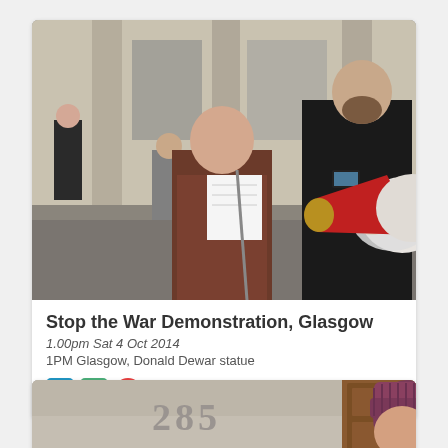[Figure (photo): Outdoor demonstration photo showing a woman reading from paper into a megaphone held by a bearded man in black jacket, with other people in background in front of a stone building]
Stop the War Demonstration, Glasgow
1.00pm Sat 4 Oct 2014
1PM Glasgow, Donald Dewar statue
[Figure (photo): Partial photo showing a stone wall with number 285 engraved, and a person in a purple/maroon knit hat on the right side]